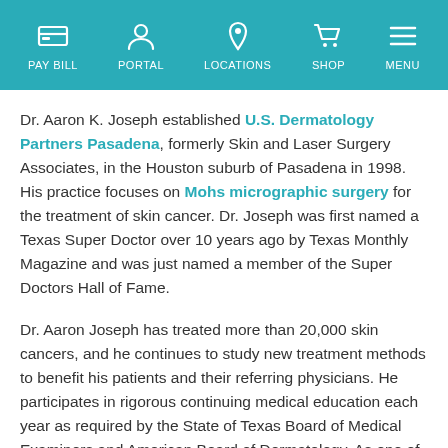PAY BILL | PORTAL | LOCATIONS | SHOP | MENU
Dr. Aaron K. Joseph established U.S. Dermatology Partners Pasadena, formerly Skin and Laser Surgery Associates, in the Houston suburb of Pasadena in 1998. His practice focuses on Mohs micrographic surgery for the treatment of skin cancer. Dr. Joseph was first named a Texas Super Doctor over 10 years ago by Texas Monthly Magazine and was just named a member of the Super Doctors Hall of Fame.
Dr. Aaron Joseph has treated more than 20,000 skin cancers, and he continues to study new treatment methods to benefit his patients and their referring physicians. He participates in rigorous continuing medical education each year as required by the State of Texas Board of Medical Examiners and American Board of Dermatology. As one of several processes for maintaining high standards of care and communication, Skin and Laser Surgery Associates conducts satisfaction surveys with all patients. Committed to excellence, Dr. Joseph reviews each completed...